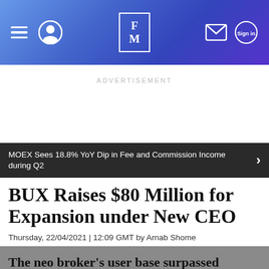FM
ADVERTISEMENT
MOEX Sees 18.8% YoY Dip in Fee and Commission Income during Q2
BUX Raises $80 Million for Expansion under New CEO
Thursday, 22/04/2021 | 12:09 GMT by Arnab Shome
The neo broker's user base surpassed 500,000.